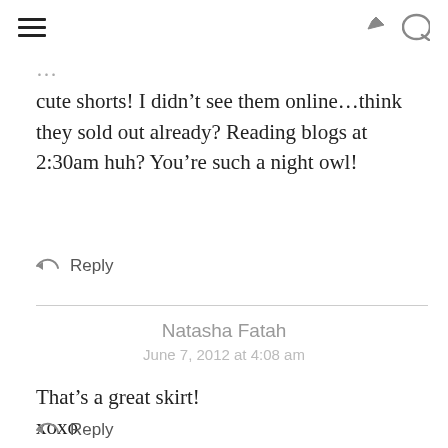[hamburger menu] [share icon] [search icon]
cute shorts! I didn't see them online…think they sold out already? Reading blogs at 2:30am huh? You're such a night owl!
Reply
Natasha Fatah
June 7, 2012 at 4:08 am
That's a great skirt!
xoxo
Natasha
Reply